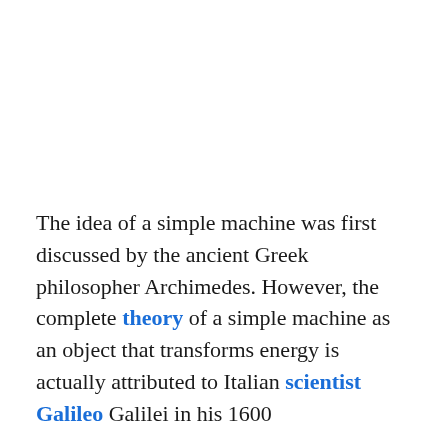The idea of a simple machine was first discussed by the ancient Greek philosopher Archimedes. However, the complete theory of a simple machine as an object that transforms energy is actually attributed to Italian scientist Galileo Galilei in his 1600